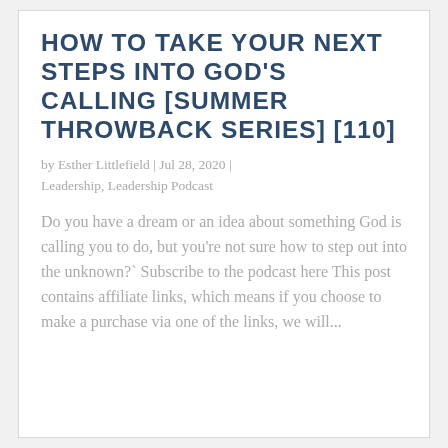HOW TO TAKE YOUR NEXT STEPS INTO GOD'S CALLING [SUMMER THROWBACK SERIES] [110]
by Esther Littlefield | Jul 28, 2020 | Leadership, Leadership Podcast
Do you have a dream or an idea about something God is calling you to do, but you're not sure how to step out into the unknown?` Subscribe to the podcast here This post contains affiliate links, which means if you choose to make a purchase via one of the links, we will...